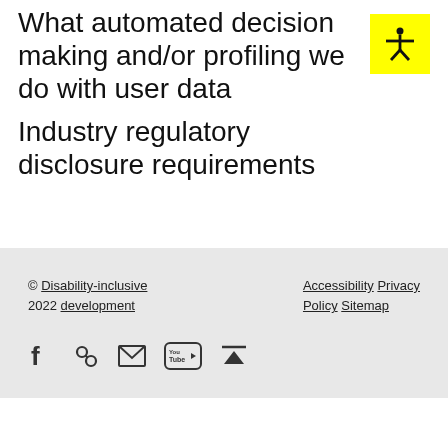What automated decision making and/or profiling we do with user data
Industry regulatory disclosure requirements
[Figure (infographic): Yellow square accessibility icon showing a human figure with arms outstretched]
© 2022 Disability-inclusive development  Accessibility Privacy Policy Sitemap
[Figure (infographic): Social media icons: Facebook, link/chain, email envelope, YouTube, and top/up arrow]